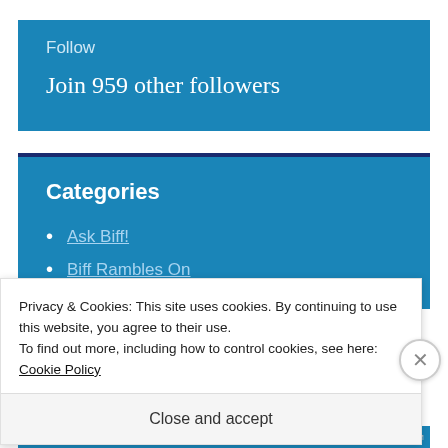Follow
Join 959 other followers
Categories
Ask Biff!
Biff Rambles On
Privacy & Cookies: This site uses cookies. By continuing to use this website, you agree to their use.
To find out more, including how to control cookies, see here: Cookie Policy
Close and accept